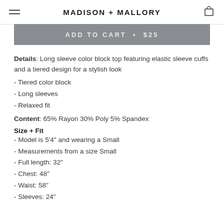MADISON + MALLORY
ADD TO CART • $25
Details: Long sleeve color block top featuring elastic sleeve cuffs and a tiered design for a stylish look
- Tiered color block
- Long sleeves
- Relaxed fit
Content: 65% Rayon 30% Poly 5% Spandex
Size + Fit
- Model is 5'4" and wearing a Small
- Measurements from a size Small
- Full length: 32"
- Chest: 48"
- Waist: 58"
- Sleeves: 24"